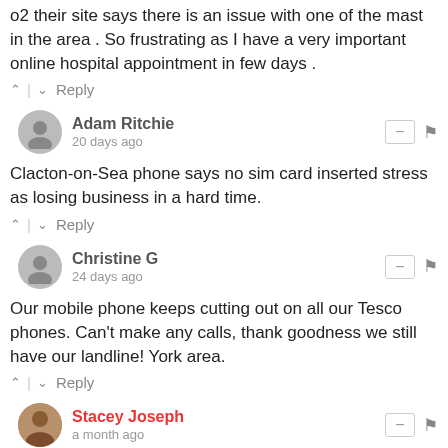o2 their site says there is an issue with one of the mast in the area . So frustrating as I have a very important online hospital appointment in few days .
↑ | ↓ Reply
Adam Ritchie
20 days ago
Clacton-on-Sea phone says no sim card inserted stress as losing business in a hard time.
↑ | ↓ Reply
Christine G
24 days ago
Our mobile phone keeps cutting out on all our Tesco phones. Can't make any calls, thank goodness we still have our landline! York area.
↑ | ↓ Reply
Stacey Joseph
a month ago
No phone service in and around my house in Colchester. Occasionally get 1 bar. Waiting for a phone call from the